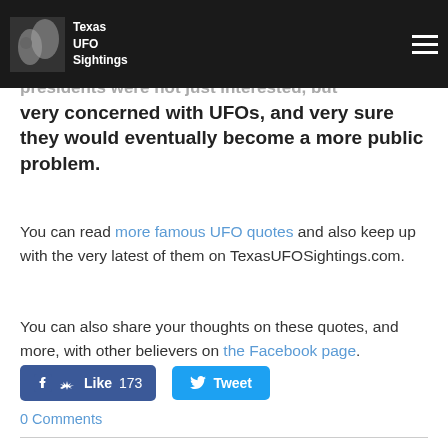Texas UFO Sightings
these quotes, Roswell and World War II-era presidents were not just interested, but very concerned with UFOs, and very sure they would eventually become a more public problem.
You can read more famous UFO quotes and also keep up with the very latest of them on TexasUFOSightings.com.
You can also share your thoughts on these quotes, and more, with other believers on the Facebook page.
[Figure (other): Like button (Facebook) with count 173 and Tweet button (Twitter)]
0 Comments